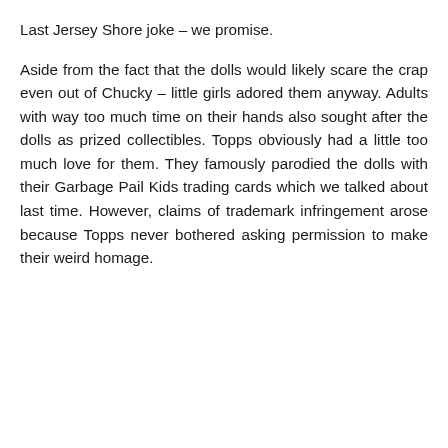Last Jersey Shore joke – we promise.
Aside from the fact that the dolls would likely scare the crap even out of Chucky – little girls adored them anyway. Adults with way too much time on their hands also sought after the dolls as prized collectibles. Topps obviously had a little too much love for them. They famously parodied the dolls with their Garbage Pail Kids trading cards which we talked about last time. However, claims of trademark infringement arose because Topps never bothered asking permission to make their weird homage.